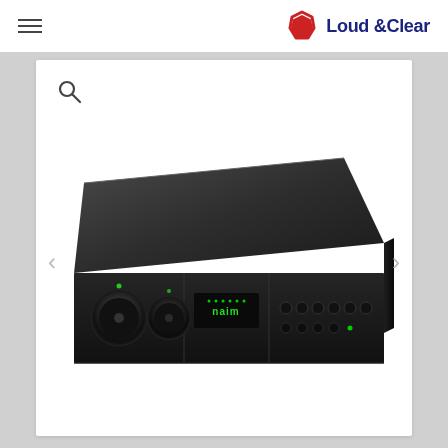Loud & Clear - navigation header with hamburger menu and logo
[Figure (photo): Front-angled view of a black hi-fi audio amplifier/preamplifier unit (Naim Audio style) with two large knobs on the left, a central display panel with green LED indicators showing 'naim', and multiple input/output ports on the right side. The unit has a wide flat-top black aluminum chassis.]